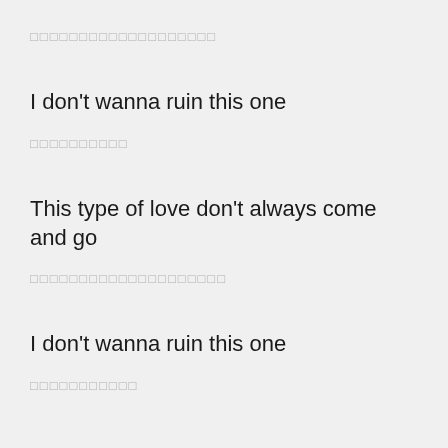□□□□□□□□□□□□□□□□□□□
I don't wanna ruin this one
□□□□□□□□□□
This type of love don't always come and go
□□□□□□□□□□□□□□□□□□□□
I don't wanna ruin this one
□□□□□□□□□□□